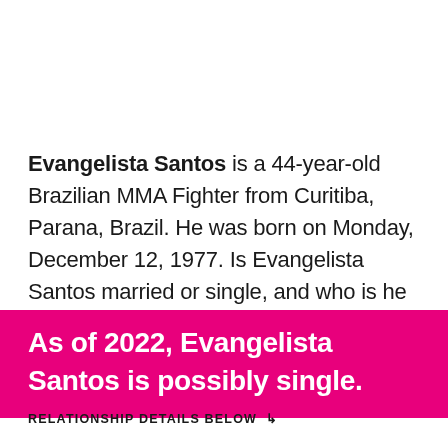Evangelista Santos is a 44-year-old Brazilian MMA Fighter from Curitiba, Parana, Brazil. He was born on Monday, December 12, 1977. Is Evangelista Santos married or single, and who is he dating now? Let’s find out!
As of 2022, Evangelista Santos is possibly single.
RELATIONSHIP DETAILS BELOW ↳